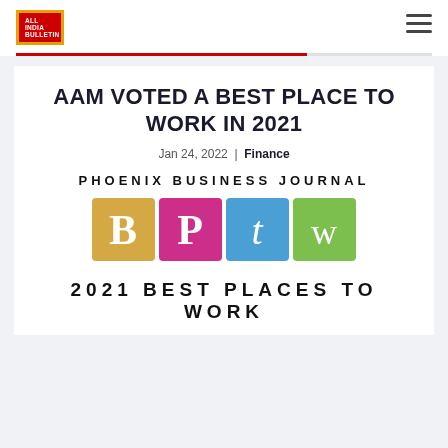[Figure (logo): All India Bulletin logo — red square with gold border, white bold text reading ALL INDIA BULLETIN]
All India Bulletin — navigation bar with hamburger menu icon
AAM VOTED A BEST PLACE TO WORK IN 2021
Jan 24, 2022 | Finance
PHOENIX BUSINESS JOURNAL
[Figure (logo): Best Places to Work logo with four colored tiles: B (gold/orange), P (magenta/pink), t (blue, italic), W (green) forming BPtW acronym]
2021 BEST PLACES TO WORK